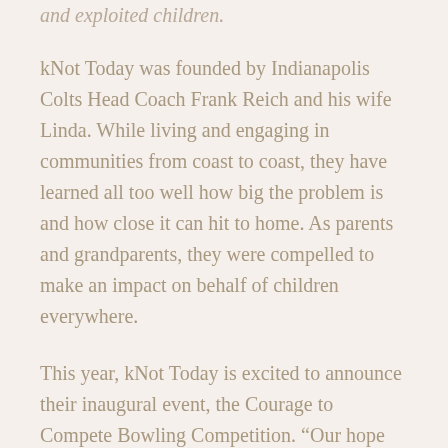and exploited children.
kNot Today was founded by Indianapolis Colts Head Coach Frank Reich and his wife Linda. While living and engaging in communities from coast to coast, they have learned all too well how big the problem is and how close it can hit to home. As parents and grandparents, they were compelled to make an impact on behalf of children everywhere.
This year, kNot Today is excited to announce their inaugural event, the Courage to Compete Bowling Competition. “Our hope for this event is to create an environment that brings people back year after year to fellowship and feel united in the fight to protect children in our community,” said Frank Reich, kNot Today co-founder.
Ambre Blends is proud to be a sponsor in the